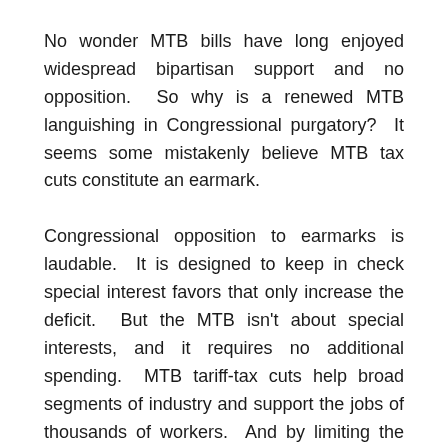No wonder MTB bills have long enjoyed widespread bipartisan support and no opposition.  So why is a renewed MTB languishing in Congressional purgatory?  It seems some mistakenly believe MTB tax cuts constitute an earmark.
Congressional opposition to earmarks is laudable.  It is designed to keep in check special interest favors that only increase the deficit.  But the MTB isn't about special interests, and it requires no additional spending.  MTB tariff-tax cuts help broad segments of industry and support the jobs of thousands of workers.  And by limiting the tax burden to manufacturers, MTB tariff-tax cuts increase economic growth for all Americans.